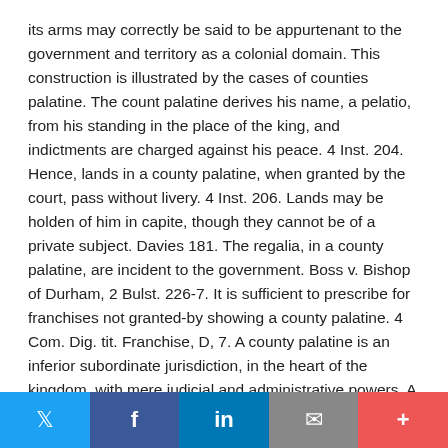its arms may correctly be said to be appurtenant to the government and territory as a colonial domain. This construction is illustrated by the cases of counties palatine. The count palatine derives his name, a pelatio, from his standing in the place of the king, and indictments are charged against his peace. 4 Inst. 204. Hence, lands in a county palatine, when granted by the court, pass without livery. 4 Inst. 206. Lands may be holden of him in capite, though they cannot be of a private subject. Davies 181. The regalia, in a county palatine, are incident to the government. Boss v. Bishop of Durham, 2 Bulst. 226-7. It is sufficient to prescribe for franchises not granted-by showing a county palatine. 4 Com. Dig. tit. Franchise, D, 7. A county palatine is an inferior subordinate jurisdiction, in the heart of the kingdom, with mere judicial and administrative powers. A colonial government extends over a large territory, and is
Twitter | Facebook | LinkedIn | Email | More